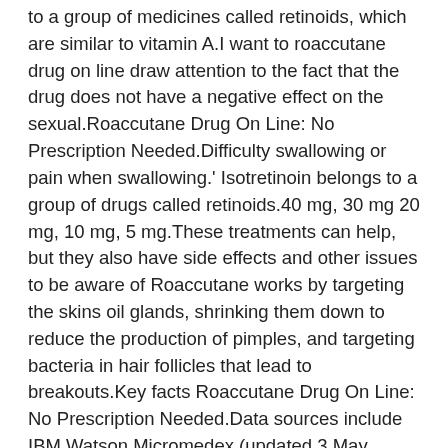to a group of medicines called retinoids, which are similar to vitamin A.I want to roaccutane drug on line draw attention to the fact that the drug does not have a negative effect on the sexual.Roaccutane Drug On Line: No Prescription Needed.Difficulty swallowing or pain when swallowing.' Isotretinoin belongs to a group of drugs called retinoids.40 mg, 30 mg 20 mg, 10 mg, 5 mg.These treatments can help, but they also have side effects and other issues to be aware of Roaccutane works by targeting the skins oil glands, shrinking them down to reduce the production of pimples, and targeting bacteria in hair follicles that lead to breakouts.Key facts Roaccutane Drug On Line: No Prescription Needed.Data sources include IBM Watson Micromedex (updated 3 May 2021), Cerner Multum™ (updated 4 May 2021), ASHP (updated 31 May 2021.I want to draw attention to the fact that the drug does not have a negative effect on the sexual.You need to also get monthly blood tests to prove you aren't